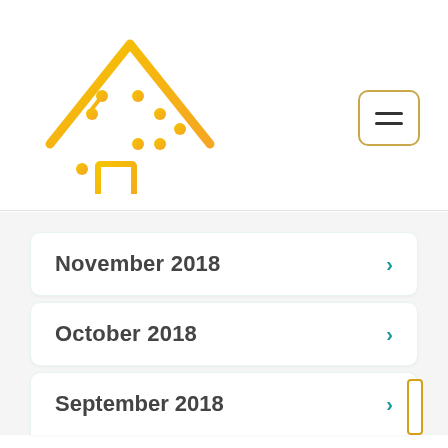[Figure (logo): Home Digital logo: a house outline with circuit board pattern inside, in yellow/orange gradient, with text 'Home Digital' below in orange]
November 2018
October 2018
September 2018